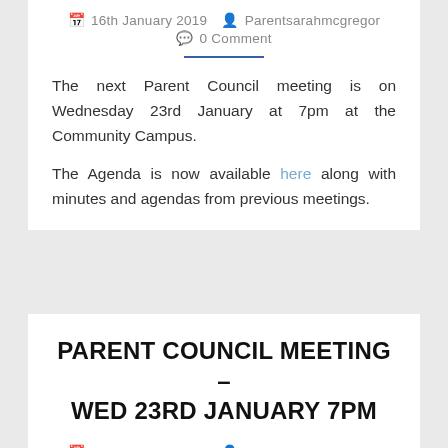16th January 2019  Parentsarahmcgregor  0 Comment
The next Parent Council meeting is on Wednesday 23rd January at 7pm at the Community Campus.
The Agenda is now available here along with minutes and agendas from previous meetings.
PARENT COUNCIL MEETING – WED 23RD JANUARY 7PM
12th January 2019  Parentsarahmcgregor